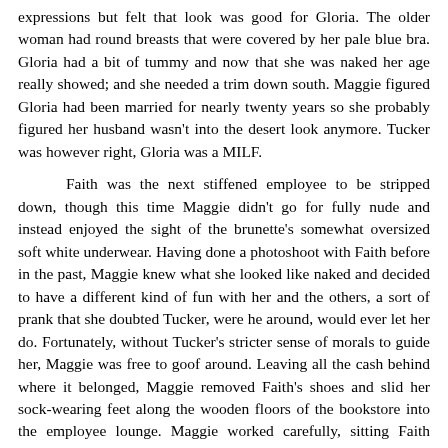expressions but felt that look was good for Gloria. The older woman had round breasts that were covered by her pale blue bra. Gloria had a bit of tummy and now that she was naked her age really showed; and she needed a trim down south. Maggie figured Gloria had been married for nearly twenty years so she probably figured her husband wasn't into the desert look anymore. Tucker was however right, Gloria was a MILF.
Faith was the next stiffened employee to be stripped down, though this time Maggie didn't go for fully nude and instead enjoyed the sight of the brunette's somewhat oversized soft white underwear. Having done a photoshoot with Faith before in the past, Maggie knew what she looked like naked and decided to have a different kind of fun with her and the others, a sort of prank that she doubted Tucker, were he around, would ever let her do. Fortunately, without Tucker's stricter sense of morals to guide her, Maggie was free to goof around. Leaving all the cash behind where it belonged, Maggie removed Faith's shoes and slid her sock-wearing feet along the wooden floors of the bookstore into the employee lounge. Maggie worked carefully, sitting Faith down on one of the couches surrounding the glass coffee table and producing a deck of cards from one of the cabinets. Moments later Faith sat with her eyes fixed on a five-card hand she held with both of her paws. Naturally one girl wasn't enough for a good poker game; Maggie needed the others.